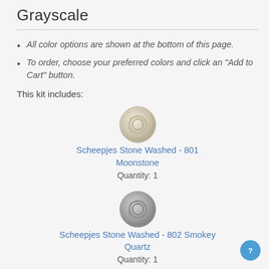Grayscale
All color options are shown at the bottom of this page.
To order, choose your preferred colors and click an "Add to Cart" button.
This kit includes:
[Figure (photo): Ball of cream/beige yarn - Scheepjes Stone Washed 801 Moonstone]
Scheepjes Stone Washed - 801 Moonstone
Quantity: 1
[Figure (photo): Ball of grey yarn - Scheepjes Stone Washed 802 Smokey Quartz]
Scheepjes Stone Washed - 802 Smokey Quartz
Quantity: 1